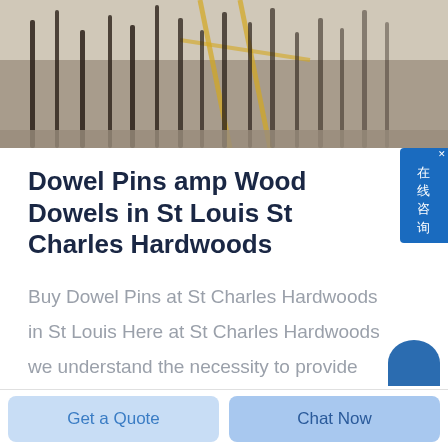[Figure (photo): Construction site photo showing vertical metal rods or dowel pins sticking up from a concrete or soil base, with yellow scaffolding visible in background.]
Dowel Pins amp Wood Dowels in St Louis St Charles Hardwoods
Buy Dowel Pins at St Charles Hardwoods in St Louis Here at St Charles Hardwoods we understand the necessity to provide wood products that perfectly match the requirements